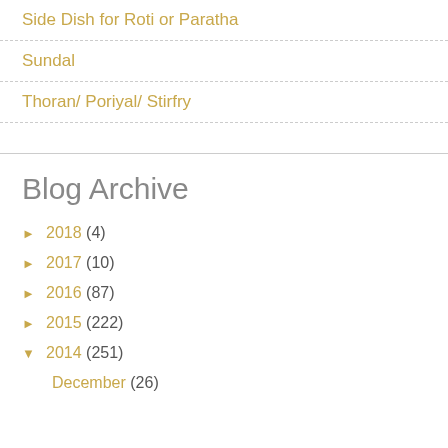Side Dish for Roti or Paratha
Sundal
Thoran/ Poriyal/ Stirfry
Blog Archive
► 2018 (4)
► 2017 (10)
► 2016 (87)
► 2015 (222)
▼ 2014 (251)
December (26)